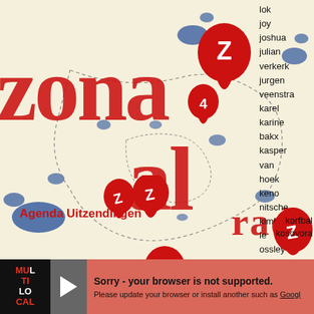[Figure (map): Interactive web map of a region (Netherlands/Belgium area) with beige land, blue water bodies, dashed boundary lines, and multiple red location pin markers with 'Z' logos. The map is partially obscured by a large red text overlay reading 'zonaal rad'. Right sidebar shows a list of names. Bottom has a footer bar.]
zonaal rad
lok
joy
joshua
julian
verkerk
jurgen
veenstra
karel
karine
bakx
kasper
van
hoek
keno
nitsche
kimberly
le
ossley
korfbal
kosovora
Agenda Uitzendingen
Sorry - your browser is not supported. Please update your browser or install another such as Googl
MUL TI LO CAL